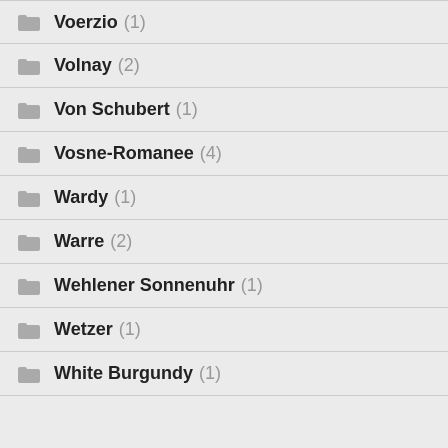Voerzio (1)
Volnay (2)
Von Schubert (1)
Vosne-Romanee (4)
Wardy (1)
Warre (2)
Wehlener Sonnenuhr (1)
Wetzer (1)
White Burgundy (1)